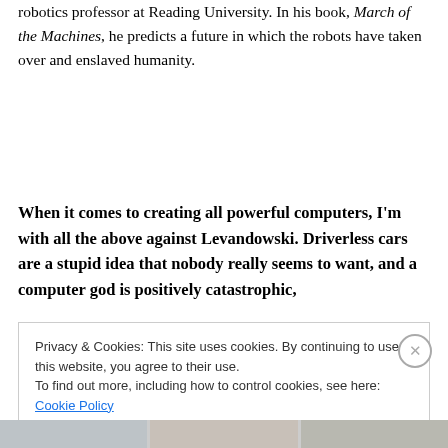robotics professor at Reading University. In his book, March of the Machines, he predicts a future in which the robots have taken over and enslaved humanity.
When it comes to creating all powerful computers, I'm with all the above against Levandowski. Driverless cars are a stupid idea that nobody really seems to want, and a computer god is positively catastrophic,
Privacy & Cookies: This site uses cookies. By continuing to use this website, you agree to their use.
To find out more, including how to control cookies, see here: Cookie Policy